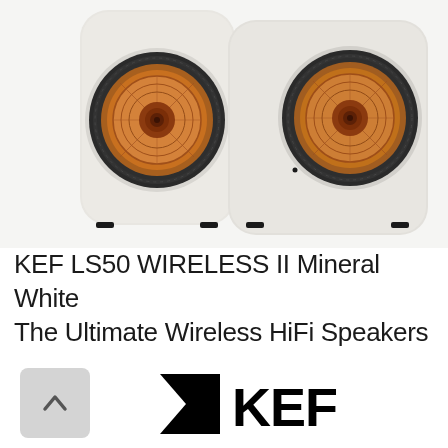[Figure (photo): Two KEF LS50 Wireless II speakers in Mineral White finish with copper/rose gold Uni-Q driver cones, photographed from front-facing angle on white background. Speakers are white with rounded cabinet design.]
KEF LS50 WIRELESS II Mineral White
The Ultimate Wireless HiFi Speakers
[Figure (logo): KEF brand logo in black — a stylized K shape followed by KEF text. Also a scroll-up button icon (grey square with upward chevron arrow).]